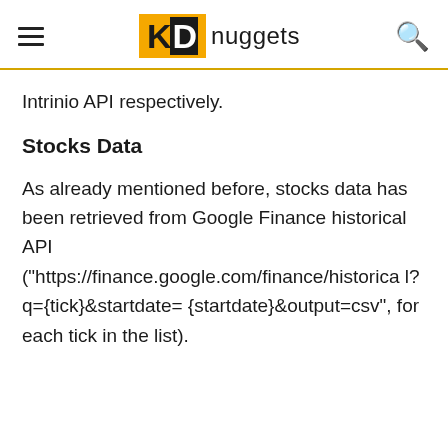KDnuggets
Intrinio API respectively.
Stocks Data
As already mentioned before, stocks data has been retrieved from Google Finance historical API ("https://finance.google.com/finance/historical?q={tick}&startdate={startdate}&output=csv", for each tick in the list).